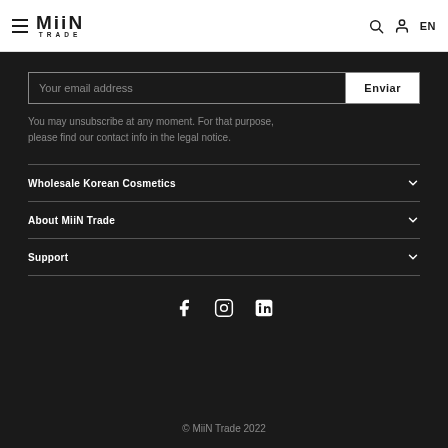MiiN TRADE — navigation header with hamburger menu, search, user, and EN language selector
Your email address
Enviar
You may unsubscribe at any moment. For that purpose, please find our contact info in the legal notice.
Wholesale Korean Cosmetics
About MiiN Trade
Support
[Figure (infographic): Social media icons: Facebook, Instagram, LinkedIn]
© MiiN Trade 2022